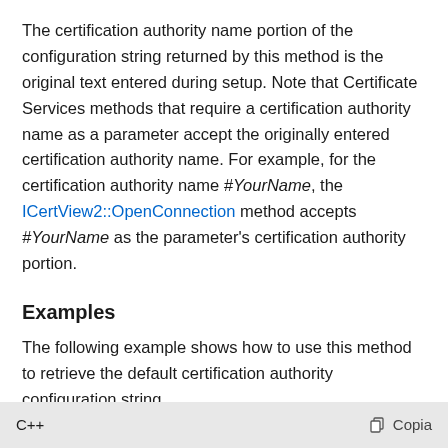The certification authority name portion of the configuration string returned by this method is the original text entered during setup. Note that Certificate Services methods that require a certification authority name as a parameter accept the originally entered certification authority name. For example, for the certification authority name #YourName, the ICertView2::OpenConnection method accepts #YourName as the parameter's certification authority portion.
Examples
The following example shows how to use this method to retrieve the default certification authority configuration string.
C++   Copia